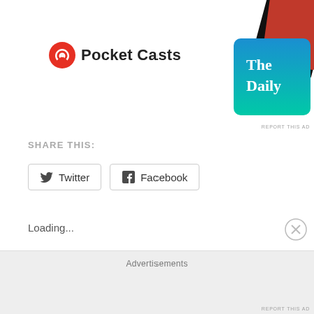[Figure (logo): Pocket Casts logo with red spiral icon and bold text 'Pocket Casts']
[Figure (photo): Advertisement showing 'The Daily' podcast cover art, blue gradient background with white bold text]
REPORT THIS AD
SHARE THIS:
Twitter
Facebook
Loading...
CURRIED FISH WITH PEAS
March 6, 2019
In "Cooking Videos"
STEW CHICKEN
Advertisements
REPORT THIS AD